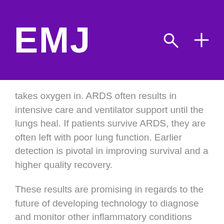EMJ
takes oxygen in. ARDS often results in intensive care and ventilator support until the lungs heal. If patients survive ARDS, they are often left with poor lung function. Earlier detection is pivotal in improving survival and a higher quality recovery.
These results are promising in regards to the future of developing technology to diagnose and monitor other inflammatory conditions that impact the lungs, including asthma, sepsis, and pneumonia.
Share: